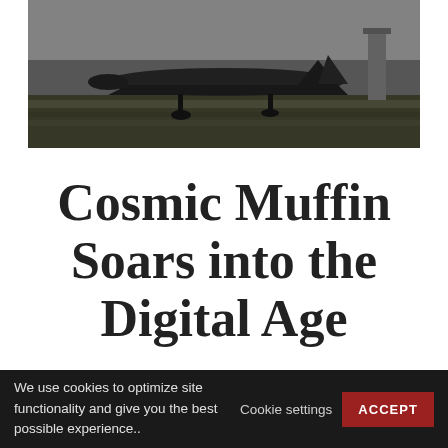[Figure (photo): Black and white photograph of a military aircraft on the ground, viewed from the side. The aircraft appears to be a jet or propeller plane parked on a grassy airfield.]
Cosmic Muffin Soars into the Digital Age
We use cookies to optimize site functionality and give you the best possible experience..  Cookie settings  ACCEPT